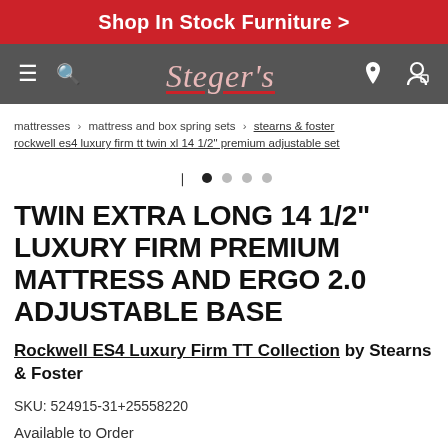Shop In Stock Furniture >
[Figure (logo): Steger's furniture store navigation bar with hamburger menu, search icon, Steger's logo in script, location pin icon, and cart icon on dark gray background]
mattresses › mattress and box spring sets › stearns & foster rockwell es4 luxury firm tt twin xl 14 1/2" premium adjustable set
[Figure (other): Carousel navigation dots: one filled black dot (active) and three gray dots]
TWIN EXTRA LONG 14 1/2" LUXURY FIRM PREMIUM MATTRESS AND ERGO 2.0 ADJUSTABLE BASE
Rockwell ES4 Luxury Firm TT Collection by Stearns & Foster
SKU: 524915-31+25558220
Available to Order